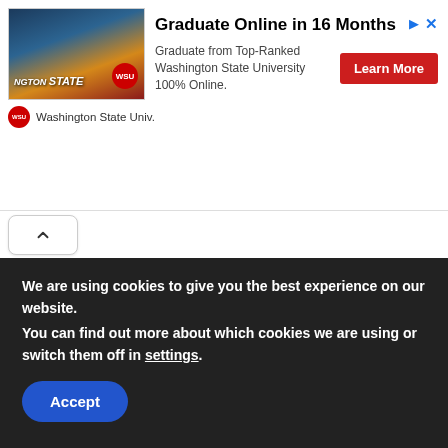[Figure (screenshot): Advertisement banner for Washington State University online program. Shows university photo, headline 'Graduate Online in 16 Months', subtitle 'Graduate from Top-Ranked Washington State University 100% Online.', a red 'Learn More' button, and WSU branding.]
You also need to look into several things like content marketing, SEO, SEM, local SEO, and other similar strategies to promote your business.
To reach a good number of people, you will also need to launch ad campaigns. These need to be incredibly
We are using cookies to give you the best experience on our website.
You can find out more about which cookies we are using or switch them off in settings.